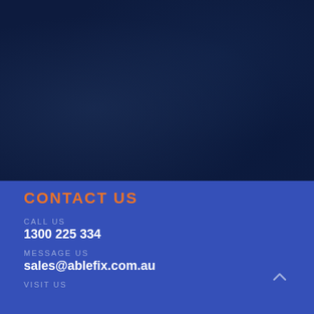[Figure (photo): Dark navy blue textured background image filling the top portion of the page]
CONTACT US
CALL US
1300 225 334
MESSAGE US
sales@ablefix.com.au
VISIT US